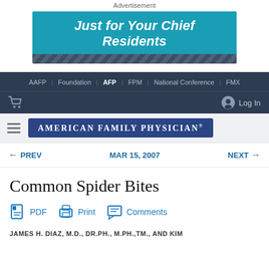Advertisement
[Figure (illustration): Advertisement banner reading 'Just for Your Chief Residents' in white bold italic text on teal/dark blue background]
AAFP | Foundation | AFP | FPM | National Conference | FMX
[Figure (logo): American Family Physician logo in white text on dark blue rectangle]
← PREV    MAR 15, 2007    NEXT →
Common Spider Bites
PDF   Print   Comments
JAMES H. DIAZ, M.D., DR.PH., M.PH.,TM., AND KIM